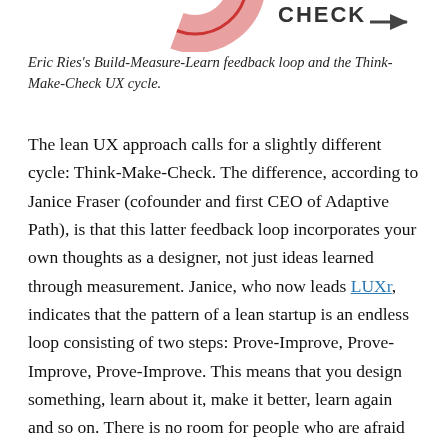[Figure (illustration): Partial circular diagram showing 'CHECK' label with an arrow, part of a Build-Measure-Learn / Think-Make-Check cycle diagram. A pink/red circle arc and arrow pointing right with 'CHECK' text visible at the top.]
Eric Ries's Build-Measure-Learn feedback loop and the Think-Make-Check UX cycle.
The lean UX approach calls for a slightly different cycle: Think-Make-Check. The difference, according to Janice Fraser (cofounder and first CEO of Adaptive Path), is that this latter feedback loop incorporates your own thoughts as a designer, not just ideas learned through measurement. Janice, who now leads LUXr, indicates that the pattern of a lean startup is an endless loop consisting of two steps: Prove-Improve, Prove-Improve, Prove-Improve. This means that you design something, learn about it, make it better, learn again and so on. There is no room for people who are afraid to put their creations on the line for testing.